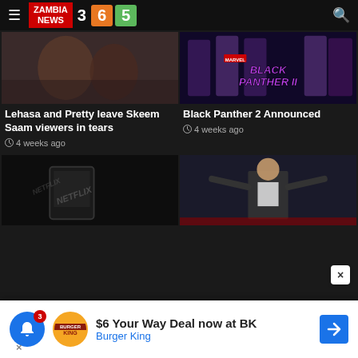ZAMBIA NEWS 365
[Figure (photo): Couple in bed, Skeem Saam scene]
Lehasa and Pretty leave Skeem Saam viewers in tears
4 weeks ago
[Figure (photo): Black Panther 2 movie poster with cast and title BLACK PANTHER II]
Black Panther 2 Announced
4 weeks ago
[Figure (photo): Netflix themed dark illustration with hand holding tablet]
[Figure (photo): Man in suit on stage with spotlit background]
$6 Your Way Deal now at BK Burger King